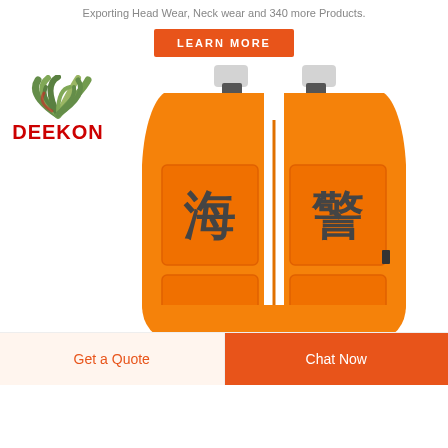Exporting Head Wear, Neck wear and 340 more Products.
LEARN MORE
[Figure (logo): DEEKON brand logo with camouflage wave symbol above red bold DEEKON text]
[Figure (photo): Orange life vest/safety vest with Chinese characters 海 and 警 on chest pockets, with reflective shoulder straps]
Get a Quote
Chat Now